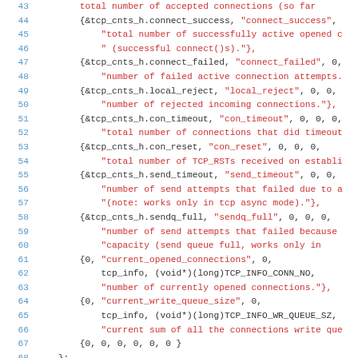[Figure (screenshot): Source code listing showing C struct initializer array with TCP connection statistics fields, line numbers 43-71, with line numbers in blue and string literals in red/dark red on white background]